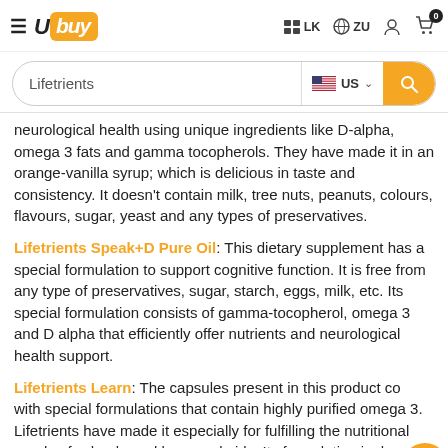Ubuy | LK | ZU | [user icon] | [cart icon] 0
Lifetrients [search bar with US locale]
neurological health using unique ingredients like D-alpha, omega 3 fats and gamma tocopherols. They have made it in an orange-vanilla syrup; which is delicious in taste and consistency. It doesn't contain milk, tree nuts, peanuts, colours, flavours, sugar, yeast and any types of preservatives.
Lifetrients Speak+D Pure Oil: This dietary supplement has a special formulation to support cognitive function. It is free from any type of preservatives, sugar, starch, eggs, milk, etc. Its special formulation consists of gamma-tocopherol, omega 3 and D alpha that efficiently offer nutrients and neurological health support.
Lifetrients Learn: The capsules present in this product come with special formulations that contain highly purified omega 3. Lifetrients have made it especially for fulfilling the nutritional needs of school-aged boys and girls. Its formulation is done in a precise ratio with appropriate doses of DHA and EPA for